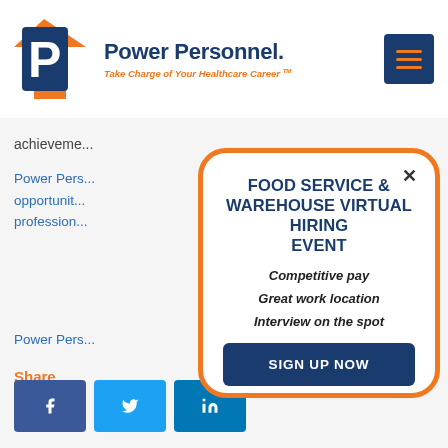[Figure (logo): Power Personnel logo with orange and blue stylized P, brand name 'Power Personnel.' and tagline 'Take Charge of Your Healthcare Career']
achieveme...
Power Pers... opportunit... profession...
Power Pers...
Share
FOOD SERVICE & WAREHOUSE VIRTUAL HIRING EVENT
Competitive pay
Great work location
Interview on the spot
SIGN UP NOW